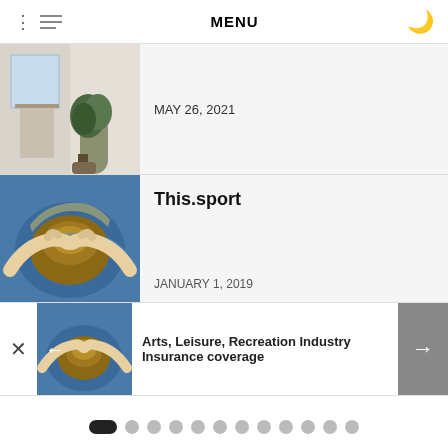MENU
[Figure (photo): Interior room with a plant near a window, minimalist style]
MAY 26, 2021
[Figure (photo): Hands shaping clay on a pottery wheel with blue and brown colors]
This.sport
JANUARY 1, 2019
[Figure (photo): Hands shaping clay on a pottery wheel - popup preview image]
Arts, Leisure, Recreation Industry Insurance coverage